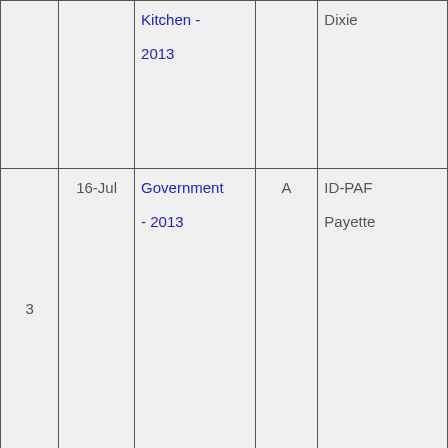|  |  | Kitchen - 2013 |  | Dixie |
| 3 | 16-Jul | Government - 2013 | A | ID-PAF Payette |
| 4 | 20-Jul | Scriver - 2013 | B | ID-BOF Boise NF |
| 5 | 11- | Wilson - | B | ID-PAF |